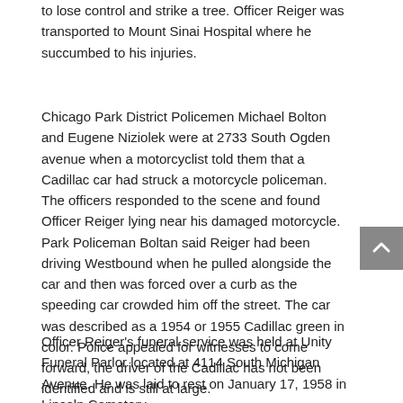to lose control and strike a tree. Officer Reiger was transported to Mount Sinai Hospital where he succumbed to his injuries.
Chicago Park District Policemen Michael Bolton and Eugene Niziolek were at 2733 South Ogden avenue when a motorcyclist told them that a Cadillac car had struck a motorcycle policeman. The officers responded to the scene and found Officer Reiger lying near his damaged motorcycle. Park Policeman Boltan said Reiger had been driving Westbound when he pulled alongside the car and then was forced over a curb as the speeding car crowded him off the street. The car was described as a 1954 or 1955 Cadillac green in color. Police appealed for witnesses to come forward, the driver of the Cadillac has not been identified and is still at large.
Officer Reiger's funeral service was held at Unity Funeral Parlor located at 4114 South Michigan Avenue. He was laid to rest on January 17, 1958 in Lincoln Cemetery.